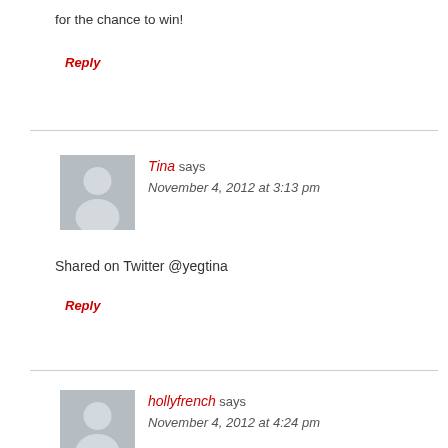for the chance to win!
Reply
Tina says
November 4, 2012 at 3:13 pm
Shared on Twitter @yegtina
Reply
hollyfrench says
November 4, 2012 at 4:24 pm